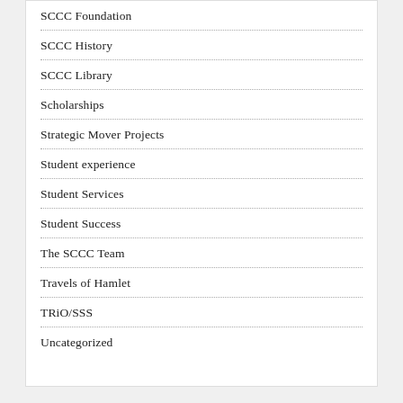SCCC Foundation
SCCC History
SCCC Library
Scholarships
Strategic Mover Projects
Student experience
Student Services
Student Success
The SCCC Team
Travels of Hamlet
TRiO/SSS
Uncategorized